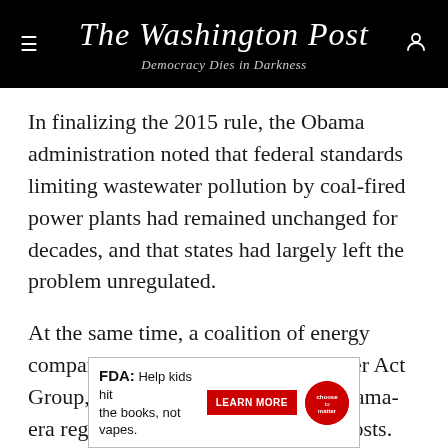The Washington Post — Democracy Dies in Darkness
In finalizing the 2015 rule, the Obama administration noted that federal standards limiting wastewater pollution by coal-fired power plants had remained unchanged for decades, and that states had largely left the problem unregulated.
At the same time, a coalition of energy companies, known as the Utility Water Act Group, has been adamant that the Obama-era regulation would impose heavy costs. Less than two months after Trump took office, the group filed a petition with the EPA, asking
[Figure (other): FDA advertisement: 'FDA: Help kids hit the books, not vapes.' with a red LEARN MORE button and a circular logo.]